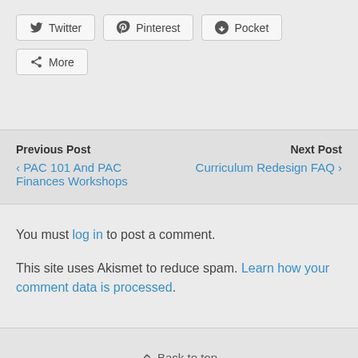Twitter
Pinterest
Pocket
More
Previous Post
‹ PAC 101 And PAC Finances Workshops
Next Post
Curriculum Redesign FAQ ›
You must log in to post a comment.
This site uses Akismet to reduce spam. Learn how your comment data is processed.
⇪ Back to top